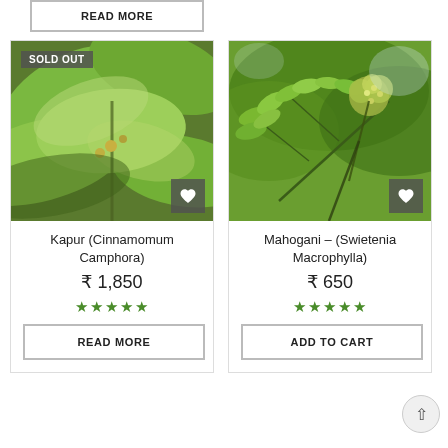READ MORE
[Figure (photo): Close-up of Kapur (Cinnamomum Camphora) plant with large green leaves and small buds. SOLD OUT badge in top-left.]
[Figure (photo): Close-up of Mahogani (Swietenia Macrophylla) plant with compound green leaves and flower clusters.]
Kapur (Cinnamomum Camphora)
₹ 1,850
★★★★★
READ MORE
Mahogani – (Swietenia Macrophylla)
₹ 650
★★★★★
ADD TO CART